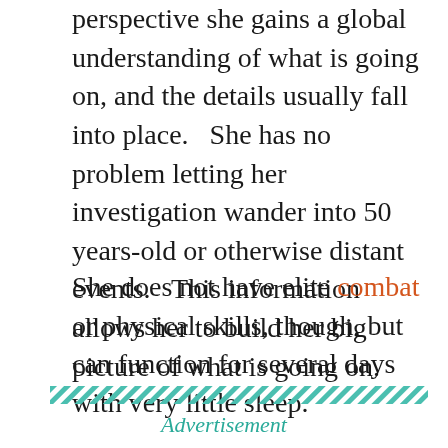perspective she gains a global understanding of what is going on, and the details usually fall into place.   She has no problem letting her investigation wander into 50 years-old or otherwise distant events.   This information allows her to build her big picture of what is going on.
She does not have elite combat or physical skills, though, but can function for several days with very little sleep.
[Figure (other): Diagonal hatching divider line made of repeating diagonal stripes in teal/green color]
Advertisement